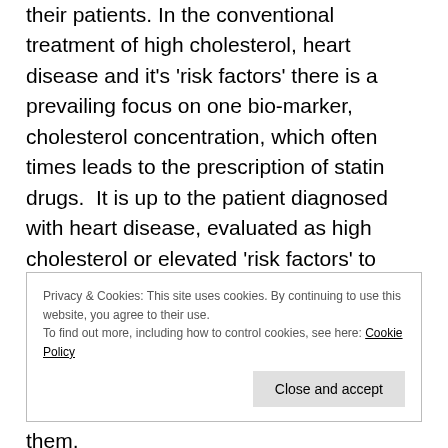their patients. In the conventional treatment of high cholesterol, heart disease and it’s ‘risk factors’ there is a prevailing focus on one bio-marker, cholesterol concentration, which often times leads to the prescription of statin drugs.  It is up to the patient diagnosed with heart disease, evaluated as high cholesterol or elevated ‘risk factors’ to become well-informed in regards to their whole situation including the potential causes, the underlying condition, the various options for treatment and the risks and potential benefits associated with them.
Privacy & Cookies: This site uses cookies. By continuing to use this website, you agree to their use.
To find out more, including how to control cookies, see here: Cookie Policy
Close and accept